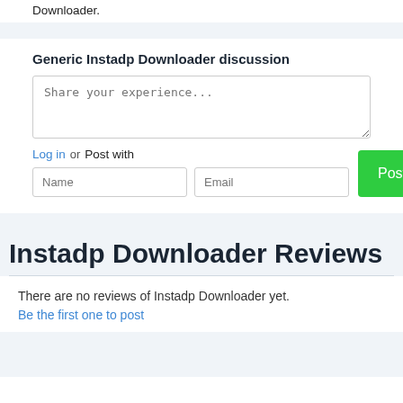Downloader.
Generic Instadp Downloader discussion
Share your experience...
Log in  or  Post with
Name
Email
Post
Instadp Downloader Reviews
There are no reviews of Instadp Downloader yet.
Be the first one to post